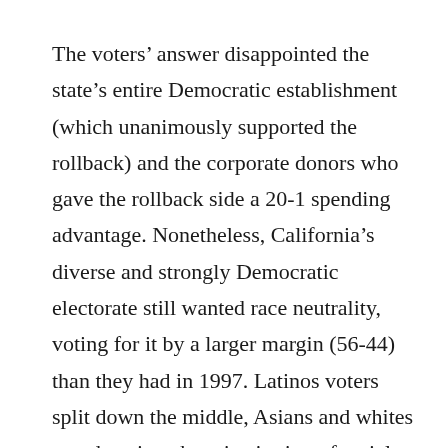The voters' answer disappointed the state's entire Democratic establishment (which unanimously supported the rollback) and the corporate donors who gave the rollback side a 20-1 spending advantage. Nonetheless, California's diverse and strongly Democratic electorate still wanted race neutrality, voting for it by a larger margin (56-44) than they had in 1997. Latinos voters split down the middle, Asians and whites voted against the reinstitution of racial preferences.
Meanwhile, in Democratic strongholds of northern Virginia and New York City, Asian parents were leading campaigns to keep exam